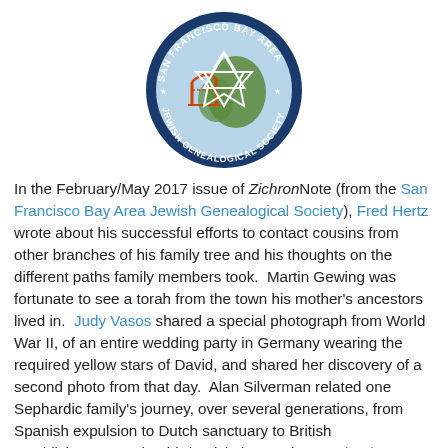[Figure (logo): San Francisco Bay Area Jewish Genealogical Society circular logo with Star of David, Golden Gate Bridge silhouette and map of Bay Area]
In the February/May 2017 issue of ZichronNote (from the San Francisco Bay Area Jewish Genealogical Society), Fred Hertz wrote about his successful efforts to contact cousins from other branches of his family tree and his thoughts on the different paths family members took.  Martin Gewing was fortunate to see a torah from the town his mother's ancestors lived in.  Judy Vasos shared a special photograph from World War II, of an entire wedding party in Germany wearing the required yellow stars of David, and shared her discovery of a second photo from that day.  Alan Silverman related one Sephardic family's journey, over several generations, from Spanish expulsion to Dutch sanctuary to British establishment.  In the third article in a series, Kevin Alan Brook described documentation proving that Sephardic Jews resided in central and northern Poland.  Sheri Fenley, the Educated Genealogist, provided...